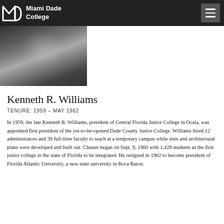Miami Dade College
[Figure (photo): Black and white portrait photograph of Kenneth R. Williams]
Kenneth R. Williams
TENURE: 1959 – MAY 1962
In 1959, the late Kenneth R. Williams, president of Central Florida Junior College in Ocala, was appointed first president of the yet-to-be-opened Dade County Junior College. Williams hired 12 administrators and 39 full-time faculty to teach at a temporary campus while sites and architectural plans were developed and built out. Classes began on Sept. 9, 1960 with 1,428 students as the first junior college in the state of Florida to be integrated. He resigned in 1962 to become president of Florida Atlantic University, a new state university in Boca Raton.